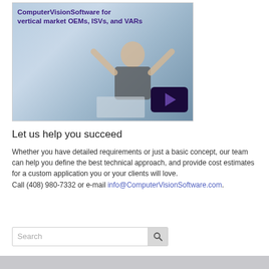[Figure (screenshot): Video thumbnail showing a businesswoman with arms raised at a desk with a laptop, with a play button overlay. Title text reads 'ComputerVisionSoftware for vertical market OEMs, ISVs, and VARs']
Let us help you succeed
Whether you have detailed requirements or just a basic concept, our team can help you define the best technical approach, and provide cost estimates for a custom application you or your clients will love.
Call (408) 980-7332 or e-mail info@ComputerVisionSoftware.com.
[Figure (screenshot): Search bar with placeholder text 'Search' and a search icon button]